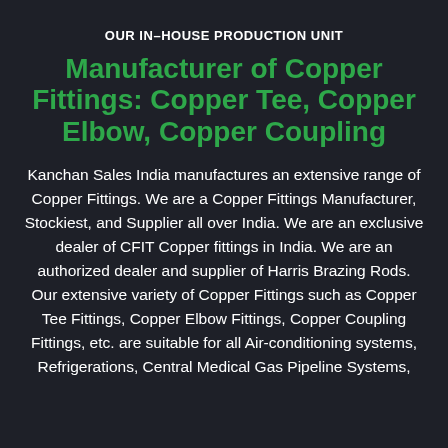OUR IN–HOUSE PRODUCTION UNIT
Manufacturer of Copper Fittings: Copper Tee, Copper Elbow, Copper Coupling
Kanchan Sales India manufactures an extensive range of Copper Fittings. We are a Copper Fittings Manufacturer, Stockiest, and Supplier all over India. We are an exclusive dealer of CFIT Copper fittings in India. We are an authorized dealer and supplier of Harris Brazing Rods. Our extensive variety of Copper Fittings such as Copper Tee Fittings, Copper Elbow Fittings, Copper Coupling Fittings, etc. are suitable for all Air-conditioning systems, Refrigerations, Central Medical Gas Pipeline Systems,